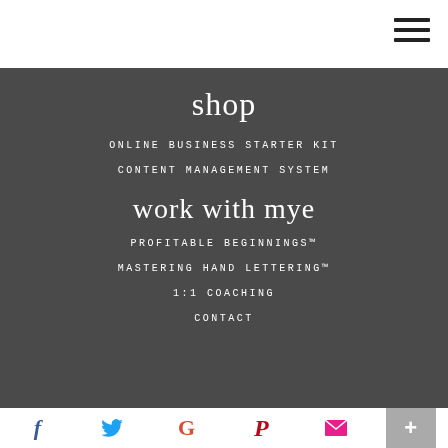shop
ONLINE BUSINESS STARTER KIT
CONTENT MANAGEMENT SYSTEM
work with mye
PROFITABLE BEGINNINGS™
MASTERING HAND LETTERING™
1:1 COACHING
CONTACT
f  Twitter  G  Pinterest  Email  +